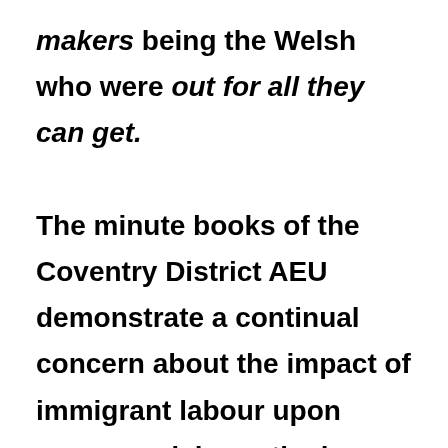makers being the Welsh who were out for all they can get. The minute books of the Coventry District AEU demonstrate a continual concern about the impact of immigrant labour upon wages and, in particular, about the tendency of some DA men to go to the factory gates and offer themselves 'at any price'. However, the frequency with which